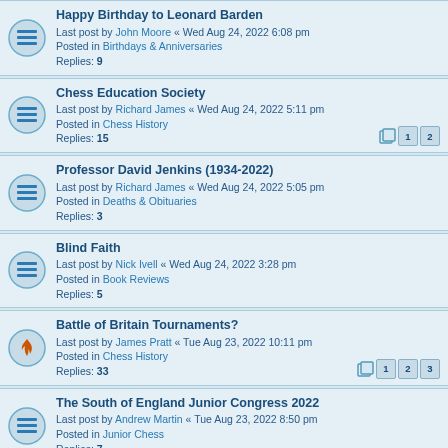Happy Birthday to Leonard Barden
Last post by John Moore « Wed Aug 24, 2022 6:08 pm
Posted in Birthdays & Anniversaries
Replies: 9
Chess Education Society
Last post by Richard James « Wed Aug 24, 2022 5:11 pm
Posted in Chess History
Replies: 15
Professor David Jenkins (1934-2022)
Last post by Richard James « Wed Aug 24, 2022 5:05 pm
Posted in Deaths & Obituaries
Replies: 3
Blind Faith
Last post by Nick Ivell « Wed Aug 24, 2022 3:28 pm
Posted in Book Reviews
Replies: 5
Battle of Britain Tournaments?
Last post by James Pratt « Tue Aug 23, 2022 10:11 pm
Posted in Chess History
Replies: 33
The South of England Junior Congress 2022
Last post by Andrew Martin « Tue Aug 23, 2022 8:50 pm
Posted in Junior Chess
Replies: 7
Event Cancellation
Last post by IM Jack Rudd « Tue Aug 23, 2022 7:18 pm
Posted in Event Cancellations
Replies: 166